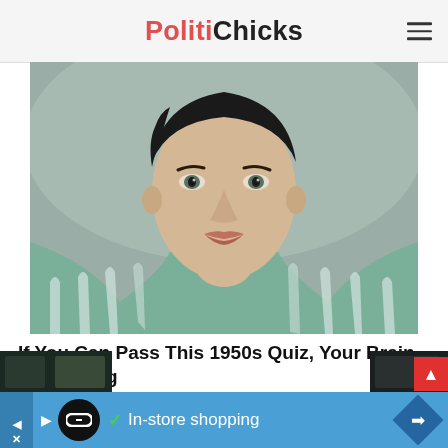PolitiChicks
[Figure (photo): Close-up portrait of a young man from the 1950s era wearing a green and white checkered/striped blazer, looking directly at camera against a grey background.]
If You Can Pass This 1950s Quiz, Your Brain Is Amazing
Do You Really Know The 50s?
TriviaBoss.com
[Figure (screenshot): Advertisement banner at bottom: blue background with play icon, circular black logo, checkmark, text 'In-store shopping', and blue diamond arrow icon. Two dark thumbnail images on far left and right edges.]